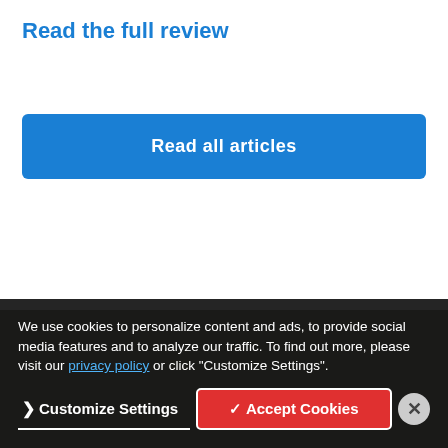Read the full review
Read all articles
We use cookies to personalize content and ads, to provide social media features and to analyze our traffic. To find out more, please visit our privacy policy or click "Customize Settings".
Customize Settings
✓ Accept Cookies